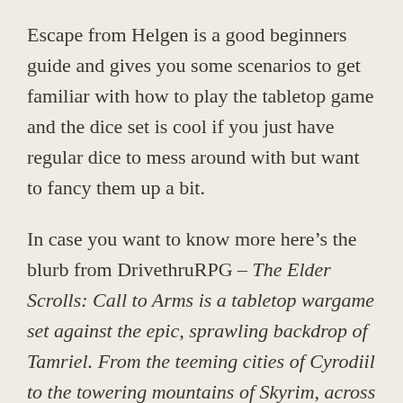Escape from Helgen is a good beginners guide and gives you some scenarios to get familiar with how to play the tabletop game and the dice set is cool if you just have regular dice to mess around with but want to fancy them up a bit.
In case you want to know more here's the blurb from DrivethruRPG – The Elder Scrolls: Call to Arms is a tabletop wargame set against the epic, sprawling backdrop of Tamriel. From the teeming cities of Cyrodiil to the towering mountains of Skyrim, across the ash-plains of Morrowind, and through the steaming swamps of Black Marsh, you must lead your Party of bold warriors on the path to glory. In this game, you must select a mighty champion to lead your Party, and alongside them...